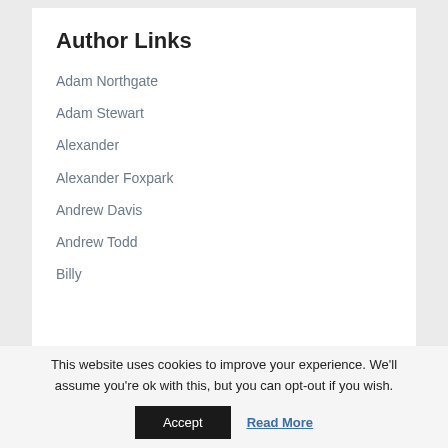Author Links
Adam Northgate
Adam Stewart
Alexander
Alexander Foxpark
Andrew Davis
Andrew Todd
Billy
This website uses cookies to improve your experience. We'll assume you're ok with this, but you can opt-out if you wish.
Accept
Read More